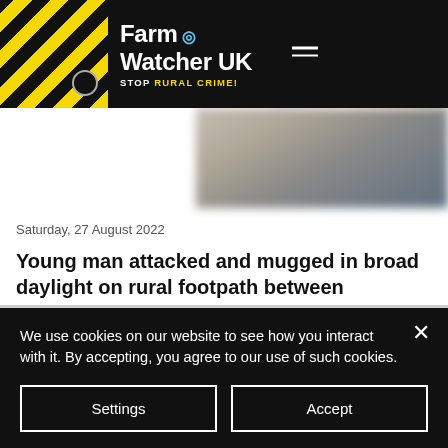Farm Watcher UK — STOP RURAL CRIME!
[Figure (screenshot): Blurred background image behind article card]
Saturday, 27 August 2022
Young man attacked and mugged in broad daylight on rural footpath between Kempston and Wooton
Read now ›
We use cookies on our website to see how you interact with it. By accepting, you agree to our use of such cookies.
Settings
Accept